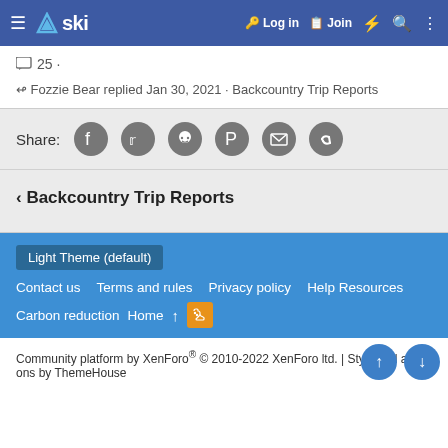≡ △ski   🔑 Log in   📋 Join   ⚡ 🔍 ⋮
💬 25 ·
↩ Fozzie Bear replied Jan 30, 2021 · Backcountry Trip Reports
Share: [Facebook] [Twitter] [Reddit] [Pinterest] [Email] [Link]
‹ Backcountry Trip Reports
Light Theme (default)
Contact us   Terms and rules   Privacy policy   Help Resources
Carbon reduction   Home   ↑   [RSS]
Community platform by XenForo® © 2010-2022 XenForo ltd. | Style and add-ons by ThemeHouse